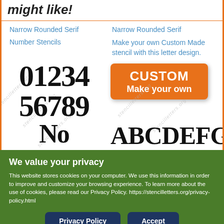might like!
Narrow Rounded Serif
Narrow Rounded Serif
Number Stencils
Make your own Custom Made stencil with this letter design.
[Figure (illustration): Number stencil showing 01234 56789 No... with watermarks]
[Figure (illustration): Orange CUSTOM Make your own button, and partial ABCDEFG text with watermarks]
We value your privacy
This website stores cookies on your computer. We use this information in order to improve and customize your browsing experience. To learn more about the use of cookies, please read our Privacy Policy. https://stencilletters.org/privacy-policy.html
Privacy Policy
Accept